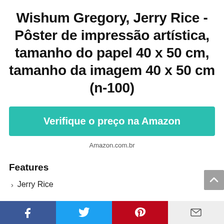Wishum Gregory, Jerry Rice - Pôster de impressão artística, tamanho do papel 40 x 50 cm, tamanho da imagem 40 x 50 cm (n-100)
Verifique o preço na Amazon
Amazon.com.br
Features
Jerry Rice